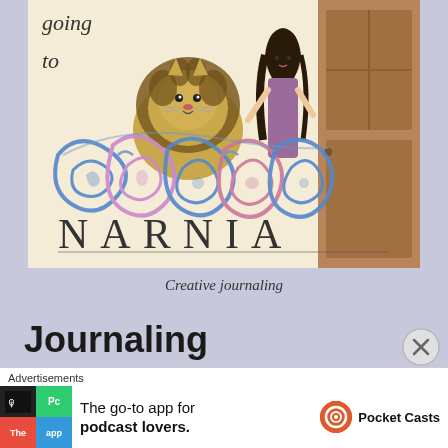[Figure (illustration): Hand-drawn and watercolored illustration showing a lion (Aslan), a girl with long dark hair, and whimsical blue and purple swirling decorative lettering spelling 'going to' at the top and NARNIA in block hand-drawn letters at the bottom. The artwork is in a creative journaling / sketchbook style.]
Creative journaling
Journaling
Advertisements
The go-to app for podcast lovers. Pocket Casts